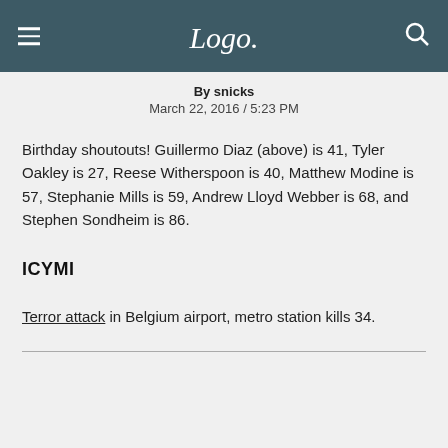[Figure (logo): Logo TV network logo in white script text on dark teal header bar with hamburger menu icon on left and search icon on right]
By snicks
March 22, 2016 / 5:23 PM
Birthday shoutouts! Guillermo Diaz (above) is 41, Tyler Oakley is 27, Reese Witherspoon is 40, Matthew Modine is 57, Stephanie Mills is 59, Andrew Lloyd Webber is 68, and Stephen Sondheim is 86.
ICYMI
Terror attack in Belgium airport, metro station kills 34.